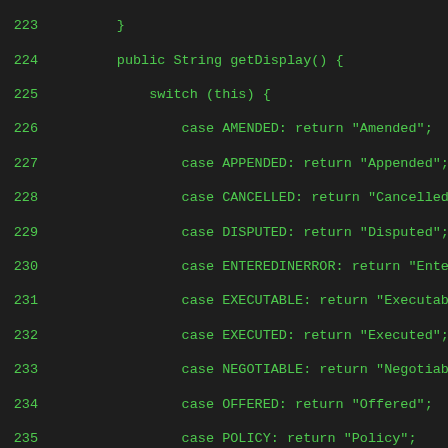[Figure (screenshot): Source code screenshot showing Java enum getDisplay() method with switch statement returning string labels for contract statuses (AMENDED, APPENDED, CANCELLED, DISPUTED, ENTEREDINERROR, EXECUTABLE, EXECUTED, NEGOTIABLE, OFFERED, POLICY, REJECTED, RENEWED, REVOKED, RESOLVED, TERMINATED, NULL, default), followed by the beginning of a ContractStatusEnumFactory class with fromCode method. Line numbers 223-251 visible. Dark background with green monospace text.]